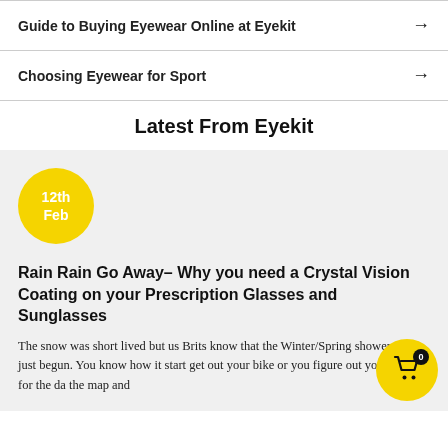Guide to Buying Eyewear Online at Eyekit →
Choosing Eyewear for Sport →
Latest From Eyekit
12th Feb
Rain Rain Go Away– Why you need a Crystal Vision Coating on your Prescription Glasses and Sunglasses
The snow was short lived but us Brits know that the Winter/Spring showers have just begun. You know how it start get out your bike or you figure out your hike for the da the map and